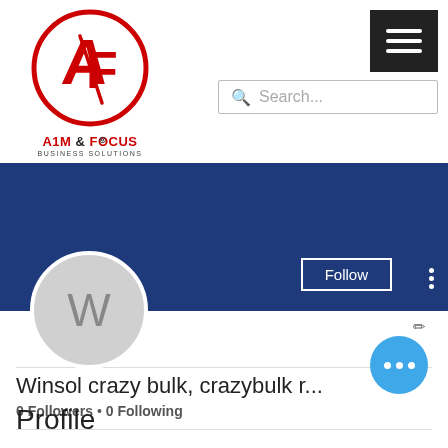[Figure (logo): Aim & Focus Business Solutions logo with red circular AF emblem and company name]
[Figure (screenshot): Hamburger menu button (three horizontal white lines on dark background)]
[Figure (screenshot): Search bar with magnifying glass icon and placeholder text 'Search...']
[Figure (screenshot): Dark blue profile banner with Follow button and three-dot menu, avatar circle with letter W]
Winsol crazy bulk, crazybulk r...
0 Followers • 0 Following
Profile